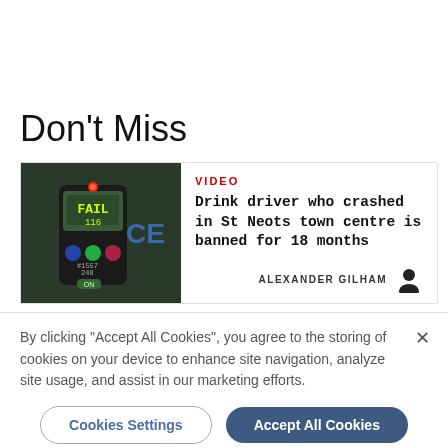Don't Miss
[Figure (photo): Breathalyzer device showing FAIL reading, with police car in background]
VIDEO
Drink driver who crashed in St Neots town centre is banned for 18 months
ALEXANDER GILHAM
By clicking "Accept All Cookies", you agree to the storing of cookies on your device to enhance site navigation, analyze site usage, and assist in our marketing efforts.
Cookies Settings
Accept All Cookies